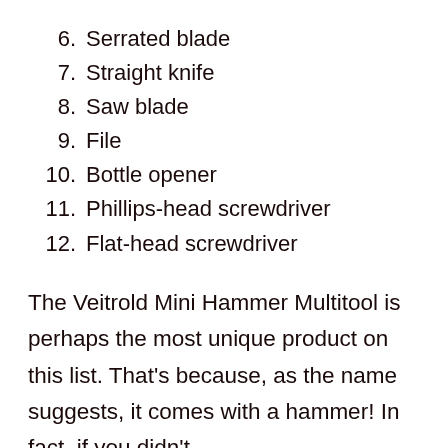6. Serrated blade
7. Straight knife
8. Saw blade
9. File
10. Bottle opener
11. Phillips-head screwdriver
12. Flat-head screwdriver
The Veitrold Mini Hammer Multitool is perhaps the most unique product on this list. That’s because, as the name suggests, it comes with a hammer! In fact, if you didn’t